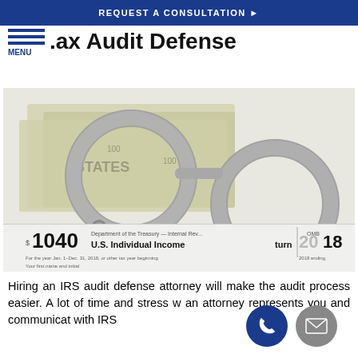REQUEST A CONSULTATION
Tax Audit Defense
[Figure (photo): Handcuffs placed on US dollar bills and a 1040 U.S. Individual Income Tax Return form for 2018]
Hiring an IRS audit defense attorney will make the audit process easier. A lot of time and stress was an attorney represents you and communicates with IRS